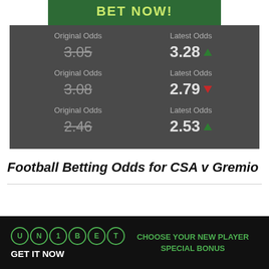[Figure (other): BET NOW! green button banner]
| Original Odds | Latest Odds |
| --- | --- |
| 3.05 | 3.28 ▲ |
| 3.08 | 2.79 ▼ |
| 2.46 | 2.53 ▲ |
Football Betting Odds for CSA v Gremio
[Figure (logo): Unibet logo with GET IT NOW and CHOOSE YOUR NEW PLAYER SPECIAL BONUS in green text on black background]